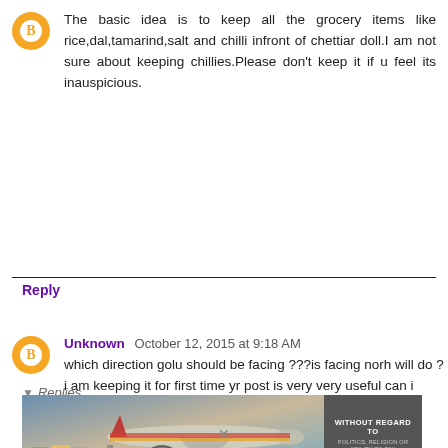The basic idea is to keep all the grocery items like rice,dal,tamarind,salt and chilli infront of chettiar doll.I am not sure about keeping chillies.Please don't keep it if u feel its inauspicious.
Reply
Unknown  October 12, 2015 at 9:18 AM
which direction golu should be facing ???is facing norh will do ? i am keeping it for first time yr post is very very useful can i arrange on 12 th night??
Reply
Replies
[Figure (photo): Advertisement banner showing an airplane being loaded with cargo, with text 'WITHOUT REGARD TO POLITICS, RELIGION OR ABILITY TO PAY' on dark background on the right side.]